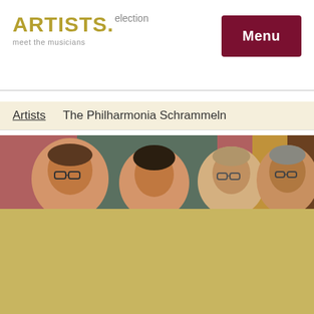ARTISTS. election meet the musicians
Menu
Artists   The Philharmonia Schrammeln
[Figure (photo): A photo strip showing four musicians peeking from behind something, with reddish-pink background walls. Four faces visible: man with glasses on left, then a younger person, then a person with glasses, then an older man with glasses on the right.]